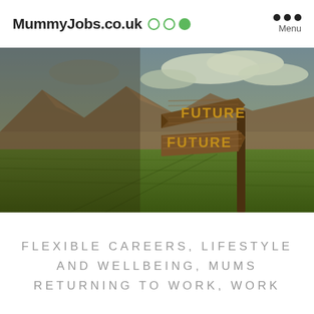MummyJobs.co.uk  ○ ○ ○   ●●● Menu
[Figure (photo): Outdoor landscape scene with green grass field, mountains in the background under a cloudy sky. On the right side, a wooden signpost with two arrow signs both reading 'FUTURE' in golden/orange lettering, one pointing left and one pointing right.]
FLEXIBLE CAREERS, LIFESTYLE AND WELLBEING, MUMS RETURNING TO WORK, WORK